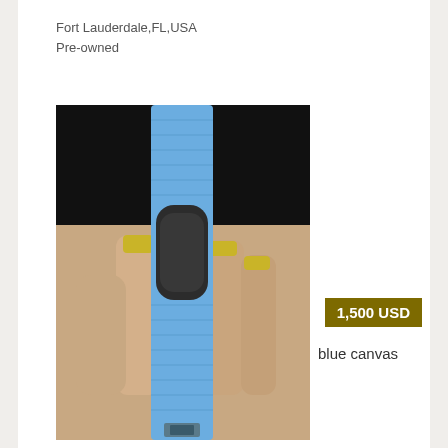Fort Lauderdale,FL,USA
Pre-owned
[Figure (photo): A hand holding a blue canvas watch strap with a dark leather/rubber keeper, photographed against a dark background.]
1,500 USD
blue canvas